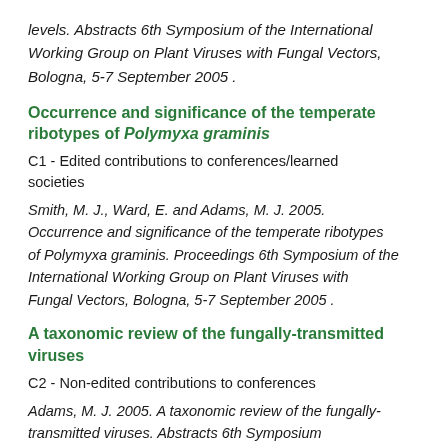levels. Abstracts 6th Symposium of the International Working Group on Plant Viruses with Fungal Vectors, Bologna, 5-7 September 2005 .
Occurrence and significance of the temperate ribotypes of Polymyxa graminis
C1 - Edited contributions to conferences/learned societies
Smith, M. J., Ward, E. and Adams, M. J. 2005. Occurrence and significance of the temperate ribotypes of Polymyxa graminis. Proceedings 6th Symposium of the International Working Group on Plant Viruses with Fungal Vectors, Bologna, 5-7 September 2005 .
A taxonomic review of the fungally-transmitted viruses
C2 - Non-edited contributions to conferences
Adams, M. J. 2005. A taxonomic review of the fungally-transmitted viruses. Abstracts 6th Symposium International Working Group on Plant Viruses with